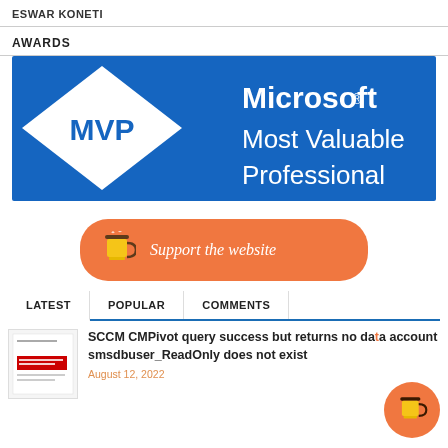ESWAR KONETI
AWARDS
[Figure (logo): Microsoft MVP Most Valuable Professional logo badge — blue background with white diamond shape containing blue MVP text on left, Microsoft® Most Valuable Professional text on right in white.]
[Figure (other): Orange rounded button with coffee cup icon and text: Support the website]
LATEST | POPULAR | COMMENTS
[Figure (screenshot): Small thumbnail image showing article with red highlighted text block]
SCCM CMPivot query success but returns no data account smsdbuser_ReadOnly does not exist
August 12, 2022